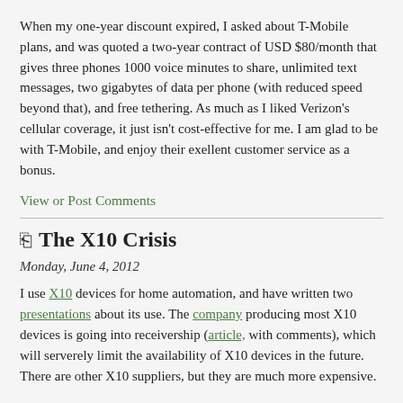When my one-year discount expired, I asked about T-Mobile plans, and was quoted a two-year contract of USD $80/month that gives three phones 1000 voice minutes to share, unlimited text messages, two gigabytes of data per phone (with reduced speed beyond that), and free tethering. As much as I liked Verizon's cellular coverage, it just isn't cost-effective for me. I am glad to be with T-Mobile, and enjoy their exellent customer service as a bonus.
View or Post Comments
The X10 Crisis
Monday, June 4, 2012
I use X10 devices for home automation, and have written two presentations about its use. The company producing most X10 devices is going into receivership (article, with comments), which will serverely limit the availability of X10 devices in the future. There are other X10 suppliers, but they are much more expensive.